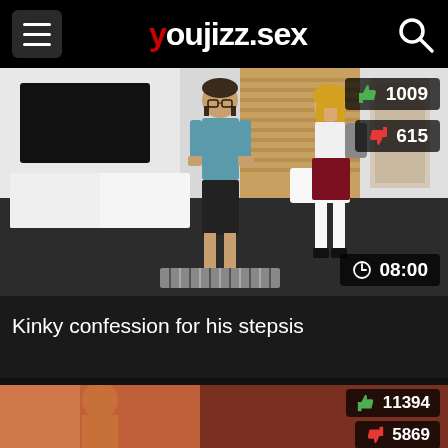youjizz.sex
[Figure (screenshot): Video thumbnail showing two people standing in a modern room interior. Overlaid vote counts: 1009 thumbs up, 615 thumbs down. Duration: 08:00.]
Kinky confession for his stepsis
[Figure (screenshot): Partial video thumbnail with warm reddish tones. Overlaid vote counts: 11394 thumbs up, 5869 thumbs down.]